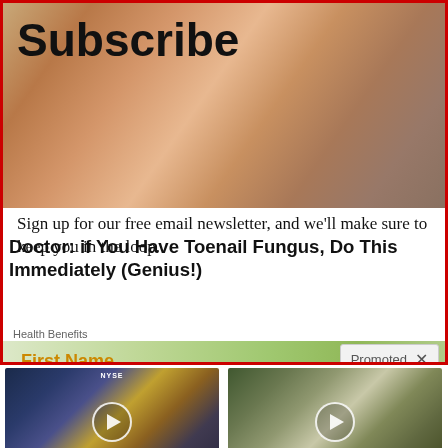[Figure (screenshot): Subscribe newsletter banner with toenail fungus ad overlay. Shows 'Subscribe' heading over a close-up photo of toes/foot. Text: 'Sign up for our free email newsletter, and we'll make sure to keep you in the loop.' Overlapping ad text: 'Doctor: if You Have Toenail Fungus, Do This Immediately (Genius!)' with 'Health Benefits' label. First Name input field visible. Promoted X badge in corner.]
Subscribe
Sign up for our free email newsletter, and we'll make sure to keep you in the loop.
Doctor: if You Have Toenail Fungus, Do This Immediately (Genius!)
Health Benefits
First Name
Promoted X
[Figure (screenshot): Video thumbnail showing man in suit at NYSE desk background]
Biden Probably Wants This Video Destroyed — US Dollar On Path Towards Replacement?
140,052
[Figure (screenshot): Video thumbnail showing woman gesturing outdoors]
Everyone Who Believes In God Should Watch This. It Will Blow Your Mind
709,995